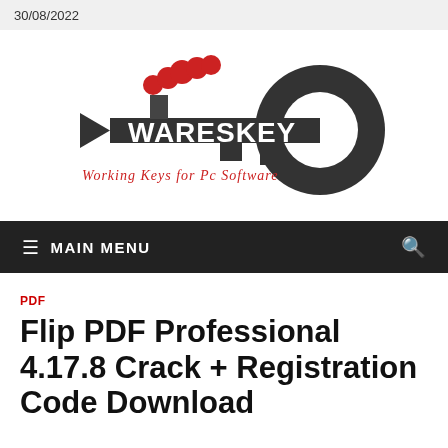30/08/2022
[Figure (logo): Wareskey logo: a dark key shape with red steam/smoke rising from it, with text WARESKEY in white bold font. Subtitle: Working Keys for Pc Software in red italic font.]
≡  MAIN MENU
PDF
Flip PDF Professional 4.17.8 Crack + Registration Code Download